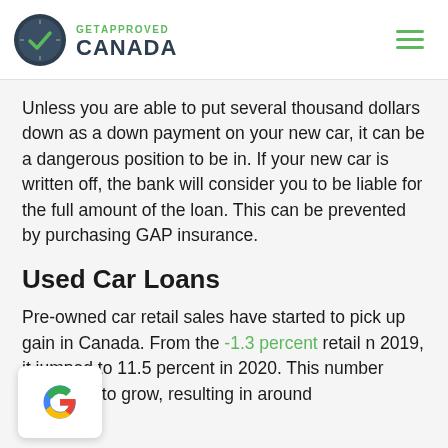GET APPROVED CANADA
Unless you are able to put several thousand dollars down as a down payment on your new car, it can be a dangerous position to be in. If your new car is written off, the bank will consider you to be liable for the full amount of the loan. This can be prevented by purchasing GAP insurance.
Used Car Loans
Pre-owned car retail sales have started to pick up gain in Canada. From the -1.3 percent retail n 2019, it jumped to 11.5 percent in 2020. This number continues to grow, resulting in around